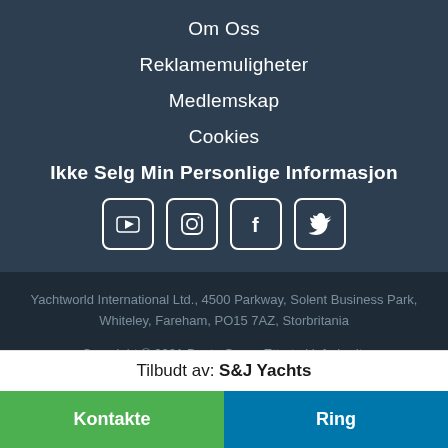Om Oss
Reklamemuligheter
Medlemskap
Cookies
Ikke Selg Min Personlige Informasjon
[Figure (other): Social media icons: YouTube, Instagram, Facebook, Twitter]
Yachtworld International Ltd., 4500 Parkway, Solent Business Park, Whiteley, Fareham, PO15 7AZ, Storbritania
Copyright © 2021 Boats Group Ettertrykk forbudt.
Bruksbetingelser
Datavern
cookies
Tilbudt av: S&J Yachts
Kontakte
Ring